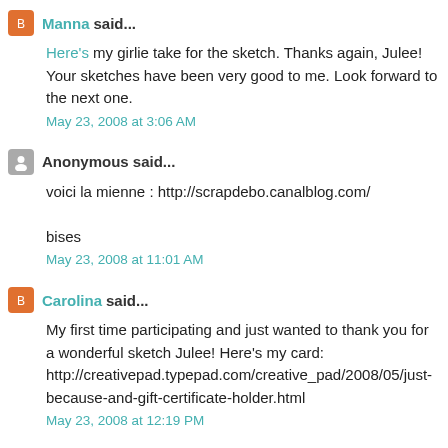Manna said... Here's my girlie take for the sketch. Thanks again, Julee! Your sketches have been very good to me. Look forward to the next one. May 23, 2008 at 3:06 AM
Anonymous said... voici la mienne : http://scrapdebo.canalblog.com/ bises May 23, 2008 at 11:01 AM
Carolina said... My first time participating and just wanted to thank you for a wonderful sketch Julee! Here's my card: http://creativepad.typepad.com/creative_pad/2008/05/just-because-and-gift-certificate-holder.html May 23, 2008 at 12:19 PM
Anonymous said...